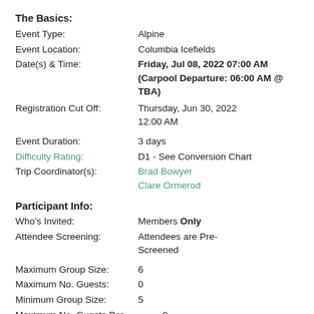The Basics:
Event Type: Alpine
Event Location: Columbia Icefields
Date(s) & Time: Friday, Jul 08, 2022 07:00 AM (Carpool Departure: 06:00 AM @ TBA)
Registration Cut Off: Thursday, Jun 30, 2022 12:00 AM
Event Duration: 3 days
Difficulty Rating: D1 - See Conversion Chart
Trip Coordinator(s): Brad Bowyer, Clare Ormerod
Participant Info:
Who's Invited: Members Only
Attendee Screening: Attendees are Pre-Screened
Maximum Group Size: 6
Maximum No. Guests: 0
Minimum Group Size: 5
Maximum No. Guests Per Member: 0